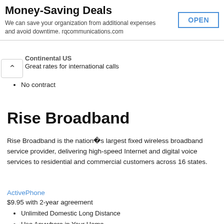Money-Saving Deals
We can save your organization from additional expenses and avoid downtime. rqcommunications.com
Continental US
Great rates for international calls
No contract
Rise Broadband
Rise Broadband is the nation’s largest fixed wireless broadband service provider, delivering high-speed Internet and digital voice services to residential and commercial customers across 16 states.
ActivePhone
$9.95 with 2-year agreement
Unlimited Domestic Long Distance
Use Anywhere in Your Home
$19.95 without 2-year service agreement
Free International Long Distance ◆ Call to landlines in 64 countries and mobile phones in 13 countries at no additional cost